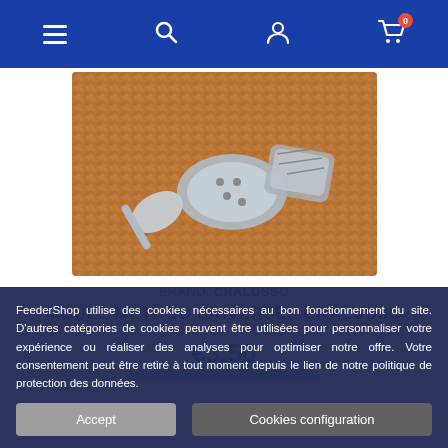Navigation bar with menu, search, account, and cart (0 items) icons
[Figure (photo): Fishing feeder molds/weights on a bed of pellets/ground bait, showing metal method feeder components in grey color]
BRAND: CRALUSSO
MOULE METHOD UNIVERSEL CRALUSSO
€3.50
FeederShop utilise des cookies nécessaires au bon fonctionnement du site. D'autres catégories de cookies peuvent être utilisées pour personnaliser votre expérience ou réaliser des analyses pour optimiser notre offre. Votre consentement peut être retiré à tout moment depuis le lien de notre politique de protection des données.
Accept   Cookies configuration